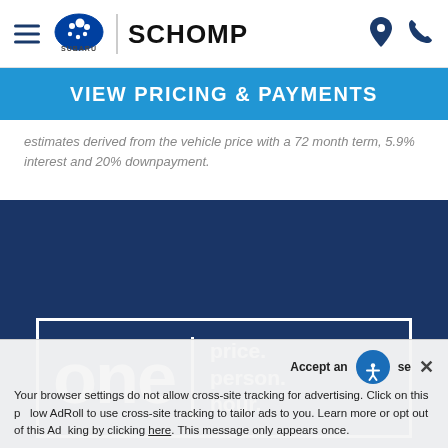Schomp Subaru — navigation header with hamburger menu, Subaru logo, SCHOMP text, location and phone icons
VIEW PRICING & PAYMENTS
estimates derived from the vehicle price with a 72 month term, 5.9% interest and 20% downpayment.
[Figure (logo): Schomp Subaru 'one price. person. hour.' promotional banner on dark blue background with white border box]
Accept an   se ✕ Your browser settings do not allow cross-site tracking for advertising. Click on this p   low AdRoll to use cross-site tracking to tailor ads to you. Learn more or opt out of this Ad  king by clicking here. This message only appears once.